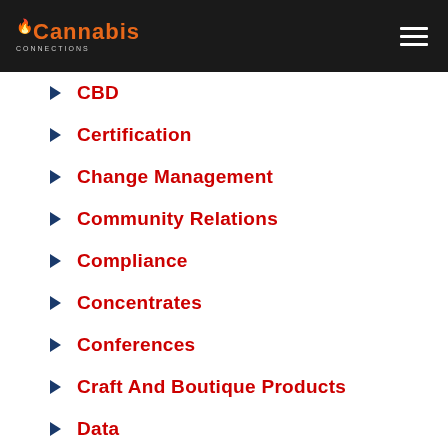Cannabis | logo with hamburger menu
CBD
Certification
Change Management
Community Relations
Compliance
Concentrates
Conferences
Craft And Boutique Products
Data